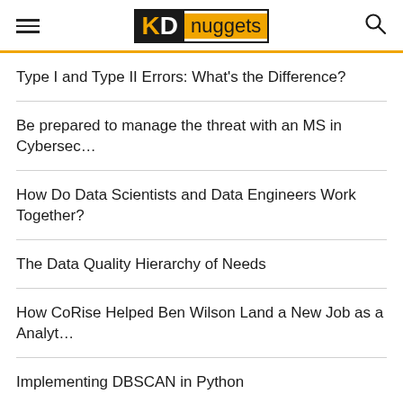KD nuggets
Type I and Type II Errors: What's the Difference?
Be prepared to manage the threat with an MS in Cybersec…
How Do Data Scientists and Data Engineers Work Together?
The Data Quality Hierarchy of Needs
How CoRise Helped Ben Wilson Land a New Job as a Analyt…
Implementing DBSCAN in Python